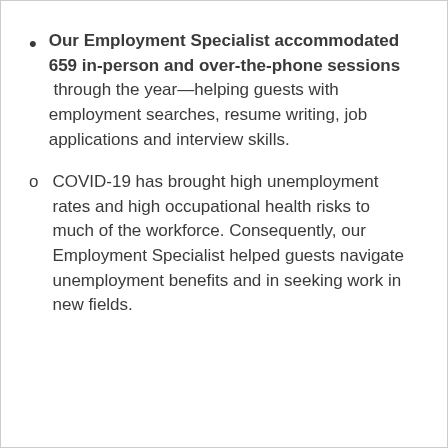Our Employment Specialist accommodated 659 in-person and over-the-phone sessions through the year—helping guests with employment searches, resume writing, job applications and interview skills.
COVID-19 has brought high unemployment rates and high occupational health risks to much of the workforce. Consequently, our Employment Specialist helped guests navigate unemployment benefits and in seeking work in new fields.